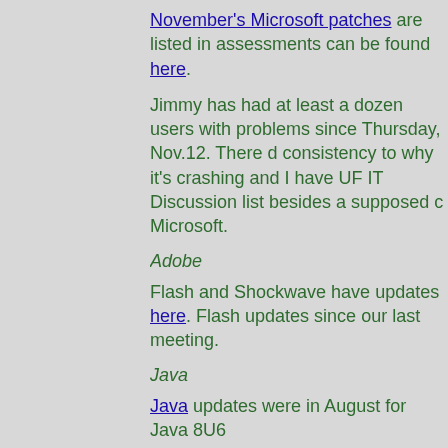November's Microsoft patches are listed in assessments can be found here.
Jimmy has had at least a dozen users with problems since Thursday, Nov.12. There d consistency to why it's crashing and I have UF IT Discussion list besides a supposed c Microsoft.
Adobe
Flash and Shockwave have updates here. Flash updates since our last meeting.
Java
Java updates were in August for Java 8U6
Apple
There have been several Apple updates, ir update, OS 10.11.1. Apple also released a that fixes the El Capitan compatibility issue
For those of you that have Mac users, Lyn